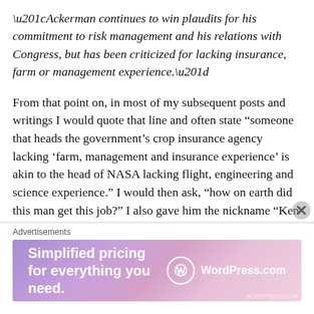“Ackerman continues to win plaudits for his commitment to risk management and his relations with Congress, but has been criticized for lacking insurance, farm or management experience.”
From that point on, in most of my subsequent posts and writings I would quote that line and often state “someone that heads the government’s crop insurance agency lacking ‘farm, management and insurance experience’ is akin to the head of NASA lacking flight, engineering and science experience.” I would then ask, “how on earth did this man get this job?” I also gave him the nickname “Ken ‘no experience’ Ackerman.” I was later told that a
Advertisements
[Figure (other): WordPress.com advertisement banner: 'Simplified pricing for everything you need.' with WordPress.com logo on gradient purple-pink background.]